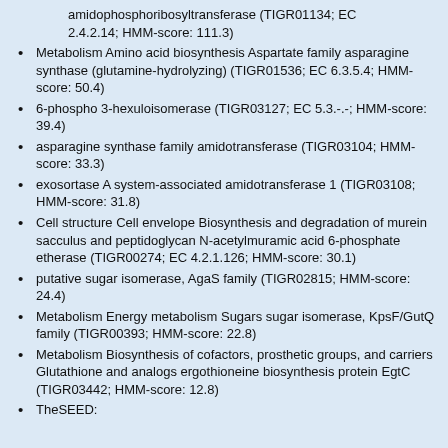amidophosphoribosyltransferase (TIGR01134; EC 2.4.2.14; HMM-score: 111.3)
Metabolism Amino acid biosynthesis Aspartate family asparagine synthase (glutamine-hydrolyzing) (TIGR01536; EC 6.3.5.4; HMM-score: 50.4)
6-phospho 3-hexuloisomerase (TIGR03127; EC 5.3.-.-; HMM-score: 39.4)
asparagine synthase family amidotransferase (TIGR03104; HMM-score: 33.3)
exosortase A system-associated amidotransferase 1 (TIGR03108; HMM-score: 31.8)
Cell structure Cell envelope Biosynthesis and degradation of murein sacculus and peptidoglycan N-acetylmuramic acid 6-phosphate etherase (TIGR00274; EC 4.2.1.126; HMM-score: 30.1)
putative sugar isomerase, AgaS family (TIGR02815; HMM-score: 24.4)
Metabolism Energy metabolism Sugars sugar isomerase, KpsF/GutQ family (TIGR00393; HMM-score: 22.8)
Metabolism Biosynthesis of cofactors, prosthetic groups, and carriers Glutathione and analogs ergothioneine biosynthesis protein EgtC (TIGR03442; HMM-score: 12.8)
TheSEED: